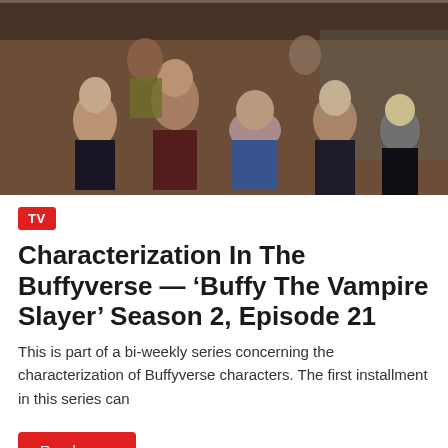[Figure (photo): Group cast photo from Buffy the Vampire Slayer, showing multiple cast members posed together against a brick wall and chain-link fence backdrop.]
TV
Characterization In The Buffyverse — ‘Buffy The Vampire Slayer’ Season 2, Episode 21
This is part of a bi-weekly series concerning the characterization of Buffyverse characters. The first installment in this series can
Read more
December 17, 2021  Benjamin Hall  Alyson Hannigan,